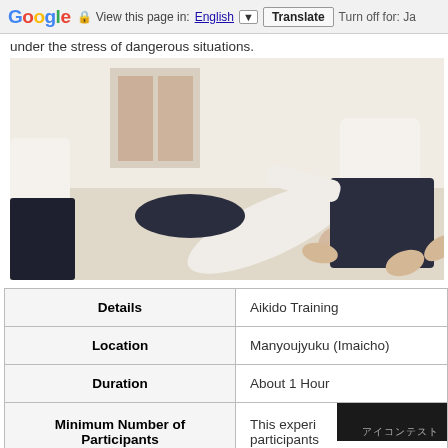Google  View this page in: English [▼]  Translate  Turn off for: Ja
under the stress of dangerous situations.
[Figure (photo): Two people practicing Aikido martial arts on a mat. One person is being thrown/pinned down while the other stands wearing a dark hakama (traditional Japanese martial arts pants) and white gi.]
| Details |  |
| --- | --- |
| Details | Aikido Training |
| Location | Manyoujyuku (Imaicho) |
| Duration | About 1 Hour |
| Minimum Number of Participants | This experi... participants... |